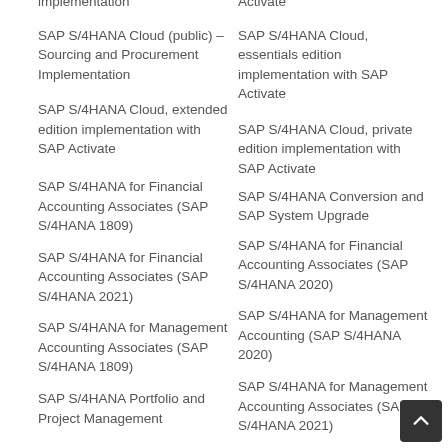SAP S/4HANA Cloud (public) – Sourcing and Procurement Implementation
SAP S/4HANA Cloud, essentials edition implementation with SAP Activate
SAP S/4HANA Cloud, extended edition implementation with SAP Activate
SAP S/4HANA Cloud, private edition implementation with SAP Activate
SAP S/4HANA Conversion and SAP System Upgrade
SAP S/4HANA for Financial Accounting Associates (SAP S/4HANA 1809)
SAP S/4HANA for Financial Accounting Associates (SAP S/4HANA 2020)
SAP S/4HANA for Financial Accounting Associates (SAP S/4HANA 2021)
SAP S/4HANA for Management Accounting (SAP S/4HANA 2020)
SAP S/4HANA for Management Accounting Associates (SAP S/4HANA 1809)
SAP S/4HANA for Management Accounting Associates (SAP S/4HANA 2021)
SAP S/4HANA Portfolio and Project Management
SAP S/4HANA Production Planning and Manufacturing